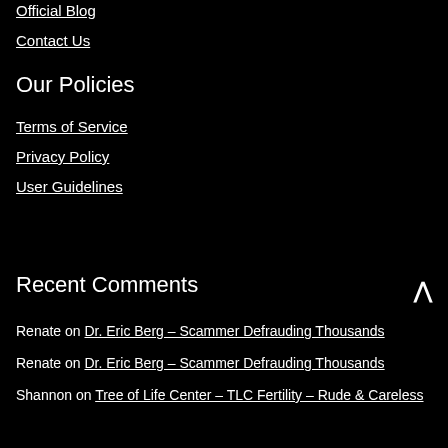Official Blog
Contact Us
Our Policies
Terms of Service
Privacy Policy
User Guidelines
Recent Comments
Renate on Dr. Eric Berg – Scammer Defrauding Thousands
Renate on Dr. Eric Berg – Scammer Defrauding Thousands
Shannon on Tree of Life Center – TLC Fertility – Rude & Careless